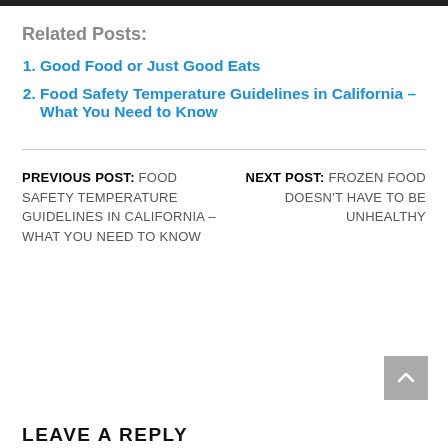Related Posts:
Good Food or Just Good Eats
Food Safety Temperature Guidelines in California – What You Need to Know
PREVIOUS POST: FOOD SAFETY TEMPERATURE GUIDELINES IN CALIFORNIA – WHAT YOU NEED TO KNOW
NEXT POST: FROZEN FOOD DOESN'T HAVE TO BE UNHEALTHY
LEAVE A REPLY